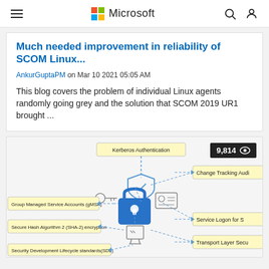Microsoft
Much needed improvement in reliability of SCOM Linux...
AnkurGuptaPM on Mar 10 2021 05:05 AM
This blog covers the problem of individual Linux agents randomly going grey and the solution that SCOM 2019 UR1 brought ...
[Figure (infographic): Security/authentication diagram showing Kerberos Authentication at top, Group Managed Service Accounts (gMSA) on left, Secure Hash Algorithm 2 (SHA-2) encryption on left, Security Development Lifecycle standards(SDL) at bottom left, Change Tracking Audit on right, Service Logon for S on right, Transport Layer Secu on right. Central icons include a shield with checkmark, a padlock, a key, an ID card, and a server/terminal icon. Connected with dashed blue lines. View count: 9,814.]